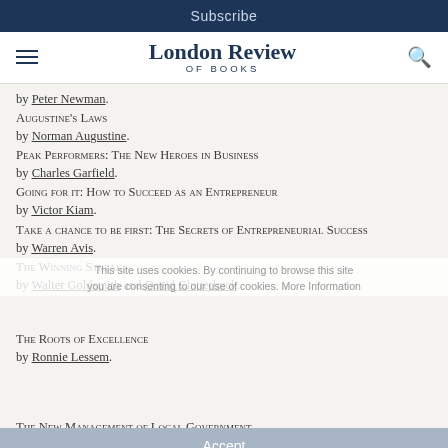Subscribe
London Review of Books
by Peter Newman.
Augustine's Laws
by Norman Augustine.
Peak Performers: The New Heroes in Business
by Charles Garfield.
Going for it: How to Succeed as an Entrepreneur
by Victor Kiam.
Take a chance to be first: The Secrets of Entrepreneurial Success
by Warren Avis.
The Winning Streak
by Walter Goldsmith and David Clutterbuck.
The Roots of Excellence
by Ronnie Lessem.
The New Management of Local Government
by John Stewart.